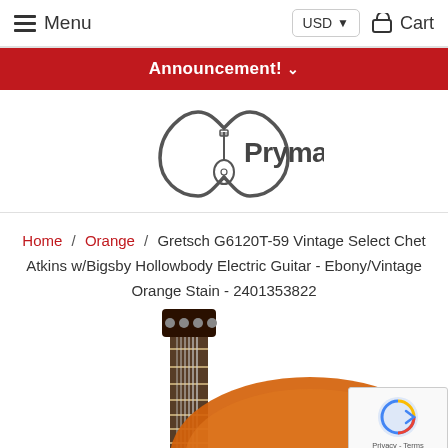Menu  USD  Cart
Announcement!
[Figure (logo): Prymaxe logo with guitar pick shape and guitar icon]
Home / Orange / Gretsch G6120T-59 Vintage Select Chet Atkins w/Bigsby Hollowbody Electric Guitar - Ebony/Vintage Orange Stain - 2401353822
[Figure (photo): Partial view of Gretsch G6120T-59 Vintage Select Chet Atkins Hollowbody Electric Guitar in Vintage Orange Stain finish, showing neck and body]